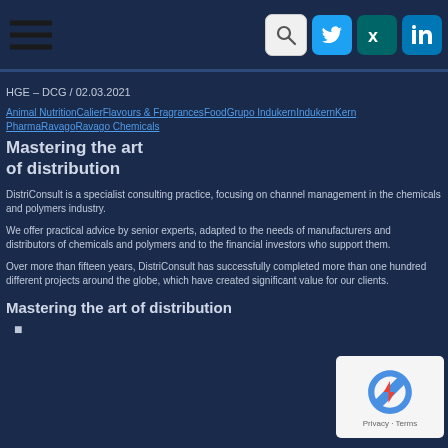Navigation bar with hamburger menu and social icons (Twitter, Xing, LinkedIn) and search
HGE – DCG / 02.03.2021
Animal NutritionCalierFlavours & FragrancesFoodGrupo IndukernIndukernKern PharmaRavagoRavago Chemicals
Mastering the art of distribution
DistriConsult is a specialist consulting practice, focusing on channel management in the chemicals and polymers industry.
We offer practical advice by senior experts, adapted to the needs of manufacturers and distributors of chemicals and polymers and to the financial investors who support them.
Over more than fifteen years, DistriConsult has successfully completed more than one hundred different projects around the globe, which have created significant value for our clients.
Mastering the art of distribution
■